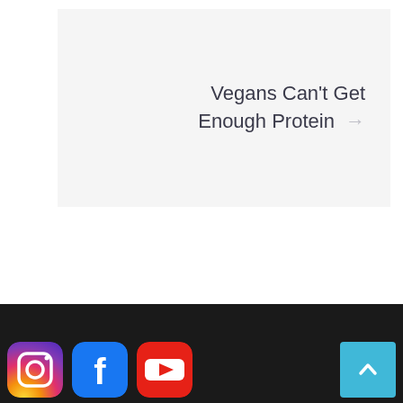Vegans Can't Get Enough Protein →
[Figure (logo): Social media icons: Instagram (gradient rounded square), Facebook (blue rounded square with white F), YouTube (red rounded square with white play button triangle). Also a light blue 'back to top' button with white chevron/caret arrow pointing up.]